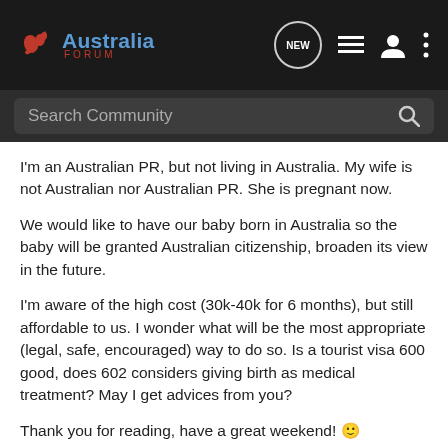[Figure (logo): Australia Forum logo with kangaroo icon, blue text 'Australia' and red text 'FORUM']
Australia FORUM — Search Community header with navigation icons (NEW, list, user, menu)
I'm an Australian PR, but not living in Australia. My wife is not Australian nor Australian PR. She is pregnant now.
We would like to have our baby born in Australia so the baby will be granted Australian citizenship, broaden its view in the future.
I'm aware of the high cost (30k-40k for 6 months), but still affordable to us. I wonder what will be the most appropriate (legal, safe, encouraged) way to do so. Is a tourist visa 600 good, does 602 considers giving birth as medical treatment? May I get advices from you?
Thank you for reading, have a great weekend! 🙂